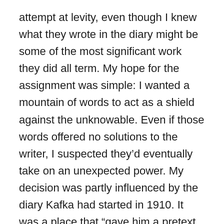attempt at levity, even though I knew what they wrote in the diary might be some of the most significant work they did all term. My hope for the assignment was simple: I wanted a mountain of words to act as a shield against the unknowable. Even if those words offered no solutions to the writer, I suspected they’d eventually take on an unexpected power. My decision was partly influenced by the diary Kafka had started in 1910. It was a place that “gave him a pretext and a medium for talking to himself.” And, as the years went by, he came to rely on the sounding board those pages represented. “I won’t give up the diary . . . I must hold onto myself here, for it’s only here that I can.”
Many of us will emerge from sheltering in place changed in some way, Before COVID-19, I kn...